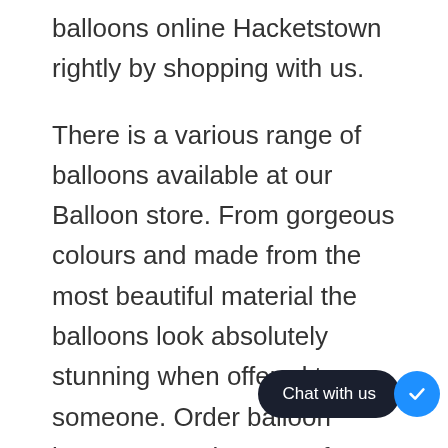balloons online Hacketstown rightly by shopping with us.
There is a various range of balloons available at our Balloon store. From gorgeous colours and made from the most beautiful material the balloons look absolutely stunning when offered to someone. Order balloon bouquets Hacketstown for various occasions or simply for just because gifts or make every second
[Figure (screenshot): Chat with us widget overlay in bottom right corner: dark rounded pill button labeled 'Chat with us' with a blue circle containing a checkmark icon]